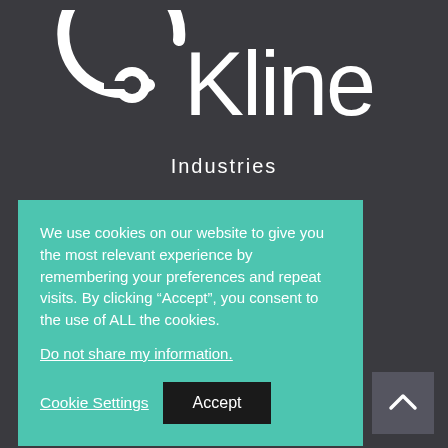[Figure (logo): eKline company logo in white on dark background, featuring a stylized eye/circle icon before the text 'eKline']
Industries
We use cookies on our website to give you the most relevant experience by remembering your preferences and repeat visits. By clicking “Accept”, you consent to the use of ALL the cookies.
Do not share my information.
Cookie Settings  Accept